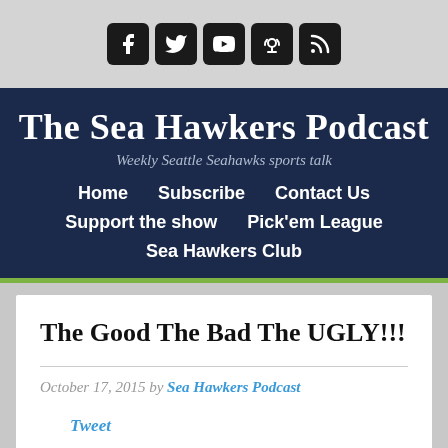[Figure (other): Social media icon buttons row: Facebook, Twitter, YouTube, Podcast, RSS feed icons in dark rounded square boxes on gray background]
The Sea Hawkers Podcast
Weekly Seattle Seahawks sports talk
Home   Subscribe   Contact Us   Support the show   Pick'em League   Sea Hawkers Club
The Good The Bad The UGLY!!!
October 17, 2015 by Sea Hawkers Podcast
Tweet